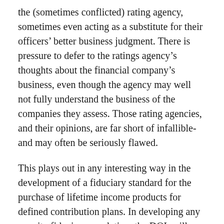the (sometimes conflicted) rating agency, sometimes even acting as a substitute for their officers' better business judgment. There is pressure to defer to the ratings agency's thoughts about the financial company's business, even though the agency may well not fully understand the business of the companies they assess. Those rating agencies, and their opinions, are far short of infallible- and may often be seriously flawed.
This plays out in any interesting way in the development of a fiduciary standard for the purchase of lifetime income products for defined contribution plans. In developing any annuity fiduciary regulation, the DOL will likely be unable to reference rating agency standards (even when issuing prohibited transaction exemptions, it noted that it is “cognizant…. of the Congressional intent